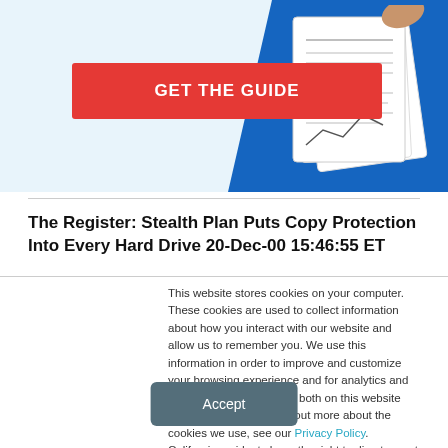[Figure (illustration): Banner with red 'GET THE GUIDE' button on light blue background, with a blue geometric shape on the right containing document/paper images]
The Register: Stealth Plan Puts Copy Protection Into Every Hard Drive 20-Dec-00 15:46:55 ET
This website stores cookies on your computer. These cookies are used to collect information about how you interact with our website and allow us to remember you. We use this information in order to improve and customize your browsing experience and for analytics and metrics about our visitors both on this website and other media. To find out more about the cookies we use, see our Privacy Policy. California residents have the right to direct us not to sell their personal information to third parties by filing an Opt-Out Request: Do Not Sell My Personal Info.
Accept